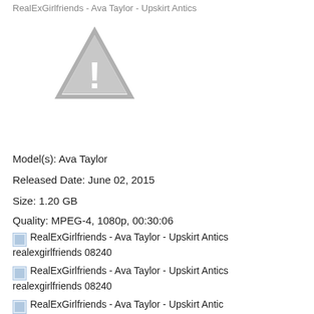RealExGirlfriends - Ava Taylor - Upskirt Antics
[Figure (illustration): Gray warning triangle icon with white exclamation mark]
Model(s): Ava Taylor
Released Date: June 02, 2015
Size: 1.20 GB
Quality: MPEG-4, 1080p, 00:30:06
[Figure (illustration): Small broken image icon placeholder for RealExGirlfriends - Ava Taylor - Upskirt Antics realexgirlfriends 08240]
RealExGirlfriends - Ava Taylor - Upskirt Antics
realexgirlfriends 08240
[Figure (illustration): Small broken image icon placeholder for RealExGirlfriends - Ava Taylor - Upskirt Antics realexgirlfriends 08240]
RealExGirlfriends - Ava Taylor - Upskirt Antics
realexgirlfriends 08240
[Figure (illustration): Small broken image icon placeholder for RealExGirlfriends - Ava Taylor - Upskirt Antics (partially visible)]